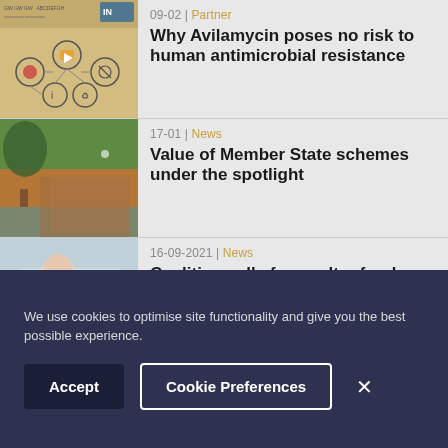[Figure (screenshot): Thumbnail image for article about Avilamycin — infographic-style diagram with icons on orange/tan background]
09-02 | Partner
Why Avilamycin poses no risk to human antimicrobial resistance
[Figure (photo): Photo of chickens outdoors near a farm building with a tree]
17-01 | News
Value of Member State schemes under the spotlight
[Figure (photo): Photo of a scientist or researcher in a white lab coat working in a laboratory]
16-09-2021 | News
Coalition calls for poultry food safety to be updated
We use cookies to optimise site functionality and give you the best possible experience.